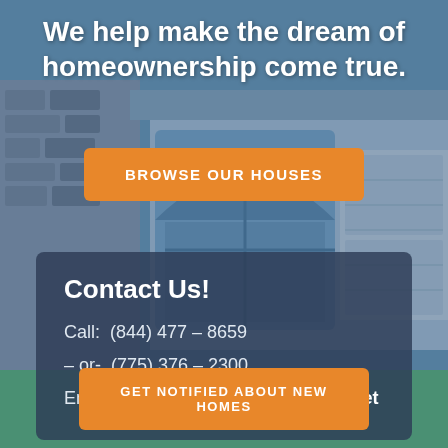We help make the dream of homeownership come true.
BROWSE OUR HOUSES
Contact Us!
Call:  (844) 477 – 8659
– or-  (775) 376 – 2300
Email: support@rent2ownhouses.net
GET NOTIFIED ABOUT NEW HOMES